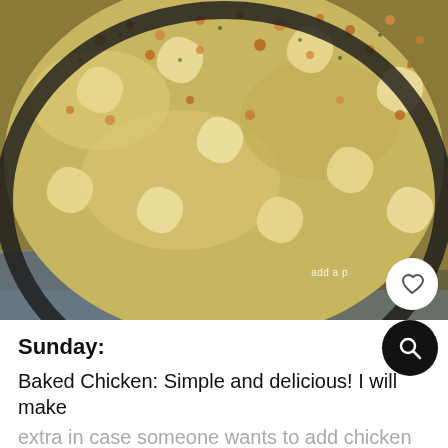[Figure (photo): Close-up photo of baked mac and cheese in a cast iron skillet with golden breadcrumb topping, served on a blue-grey surface. A white circular save/heart button appears in the lower-right corner of the image. Watermark text 'add a p' visible at bottom right.]
Sunday:
Baked Chicken: Simple and delicious! I will make extra in case someone wants to add chicken to their pasta dish tomorrow night.